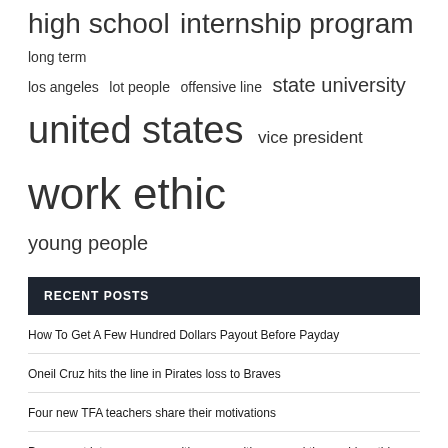high school  internship program  long term  los angeles  lot people  offensive line  state university  united states  vice president  work ethic  young people
RECENT POSTS
How To Get A Few Hundred Dollars Payout Before Payday
Oneil Cruz hits the line in Pirates loss to Braves
Four new TFA teachers share their motivations
Paramount interns engage with communities around the world on this Intern Community Day
The Green Line E branch reopens after 16 days of work closure